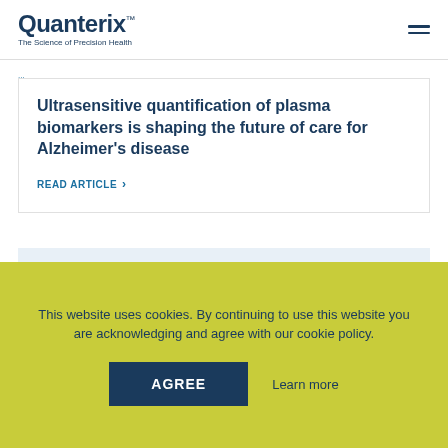Quanterix™ The Science of Precision Health
Ultrasensitive quantification of plasma biomarkers is shaping the future of care for Alzheimer's disease
READ ARTICLE >
This website uses cookies. By continuing to use this website you are acknowledging and agree with our cookie policy.
AGREE
Learn more